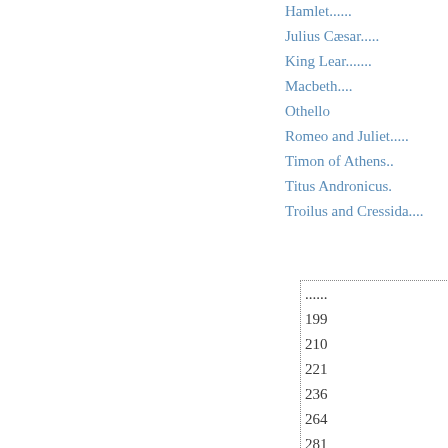Hamlet......
Julius Cæsar.....
King Lear.......
Macbeth....
Othello
Romeo and Juliet.....
Timon of Athens..
Titus Andronicus.
Troilus and Cressida....
......
199
210
221
236
264
281
297
314